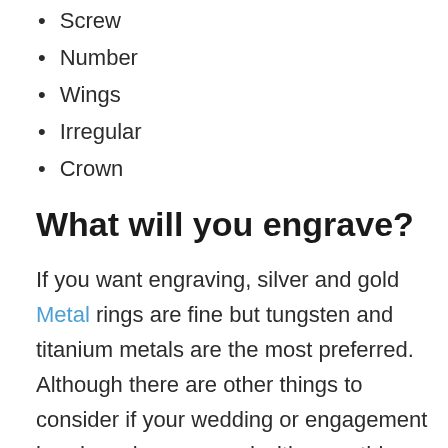Screw
Number
Wings
Irregular
Crown
What will you engrave?
If you want engraving, silver and gold Metal rings are fine but tungsten and titanium metals are the most preferred. Although there are other things to consider if your wedding or engagement band can be engraved with something, it is always best to talk with your chosen men's Ring jeweler or provider.
What kind of maintenance mens